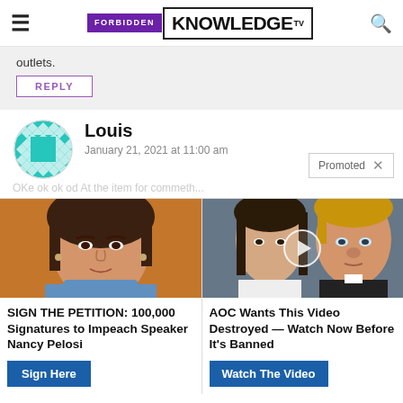FORBIDDEN KNOWLEDGE TV
outlets.
REPLY
Louis
January 21, 2021 at 11:00 am
[Figure (infographic): Promoted ad section with two items: 1) Nancy Pelosi photo with text 'SIGN THE PETITION: 100,000 Signatures to Impeach Speaker Nancy Pelosi' and 'Sign Here' button. 2) Trump/Melania video thumbnail with text 'AOC Wants This Video Destroyed — Watch Now Before It's Banned' and 'Watch The Video' button.]